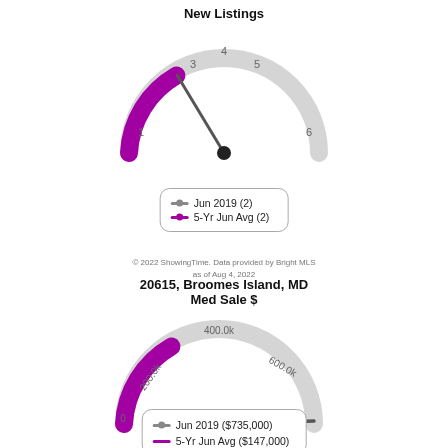New Listings
[Figure (other): Gauge/speedometer chart for New Listings. Purple arc from 0 to ~2, gray arc from ~2 to 6. Needle pointing to approximately 2. Scale labels: 1, 3, 4, 5, 6.]
[Figure (other): Legend box showing: Jun 2019 (2) with gray line/dot; 5-Yr Jun Avg (2) with purple line/dot.]
© 2022 ShowingTime. Data provided by Bright MLS
as of Aug 4, 2022
20615, Broomes Island, MD Med Sale $
[Figure (other): Gauge/speedometer chart for Med Sale $. Purple arc from 0 to ~200k, gray arc from ~200k to 600k+. Needle pointing nearly horizontal to the right (~400k+). Scale labels: 0, 200.0k, 400.0k, 600.0k.]
[Figure (other): Legend box showing: Jun 2019 ($735,000) with gray line/dot; 5-Yr Jun Avg ($147,000) with purple line/dot.]